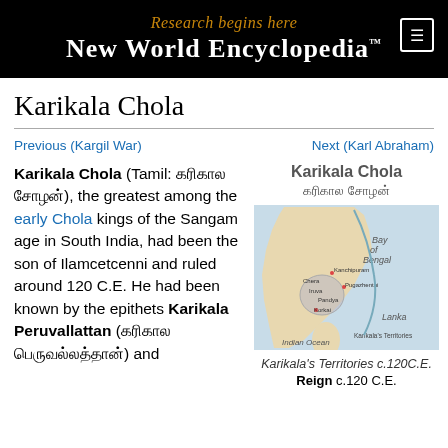Research begins here – New World Encyclopedia™
Karikala Chola
Previous (Kargil War)
Next (Karl Abraham)
Karikala Chola (Tamil: கரிகால சோழன்), the greatest among the early Chola kings of the Sangam age in South India, had been the son of Ilamcetcenni and ruled around 120 C.E. He had been known by the epithets Karikala Peruvallattan (கரிகால பெருவல்லத்தான்) and
[Figure (map): Map showing Karikala's Territories c.120 C.E., showing South India and Sri Lanka with Bay of Bengal, Indian Ocean labeled, and Karikala territories highlighted]
Karikala's Territories c.120C.E.
Karikala Chola
கரிகால சோழன்
Reign c.120 C.E.